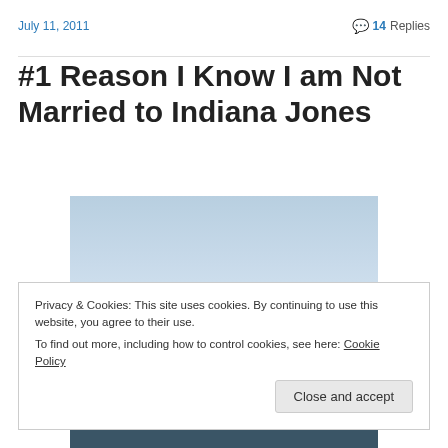July 11, 2011
14 Replies
#1 Reason I Know I am Not Married to Indiana Jones
[Figure (photo): A photo showing a light blue sky over what appears to be a body of water, with two small figures visible at the bottom]
Privacy & Cookies: This site uses cookies. By continuing to use this website, you agree to their use.
To find out more, including how to control cookies, see here: Cookie Policy
Close and accept